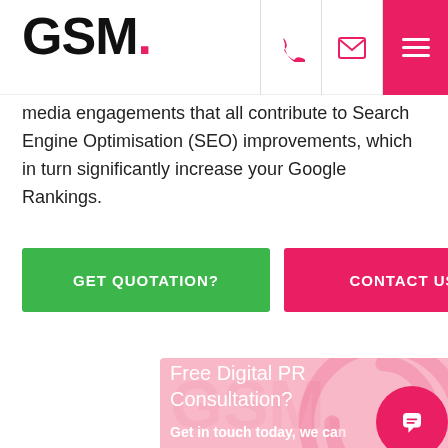GSM.
media engagements that all contribute to Search Engine Optimisation (SEO) improvements, which in turn significantly increase your Google Rankings.
GET QUOTATION?
CONTACT US
Free Digital PR Consultation?
Get in touch today, we can...